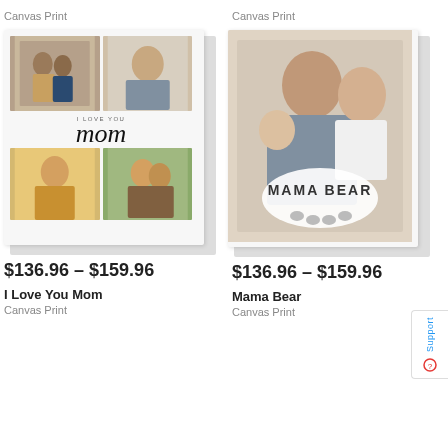Canvas Print
[Figure (photo): Canvas print product showing collage of family photos with 'I love you mom' script text]
$136.96 – $159.96
I Love You Mom
Canvas Print
Canvas Print
[Figure (photo): Canvas print product showing mother with children and 'MAMA BEAR' text overlay]
$136.96 – $159.96
Mama Bear
Canvas Print